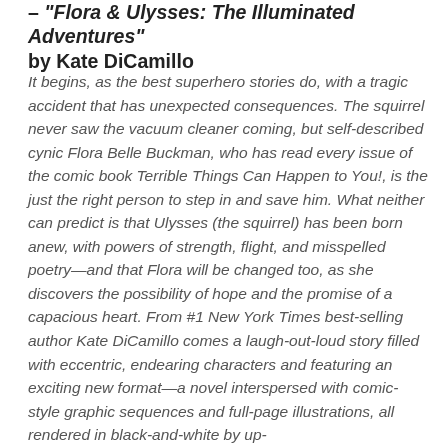– "Flora & Ulysses: The Illuminated Adventures" by Kate DiCamillo
It begins, as the best superhero stories do, with a tragic accident that has unexpected consequences. The squirrel never saw the vacuum cleaner coming, but self-described cynic Flora Belle Buckman, who has read every issue of the comic book Terrible Things Can Happen to You!, is the just the right person to step in and save him. What neither can predict is that Ulysses (the squirrel) has been born anew, with powers of strength, flight, and misspelled poetry—and that Flora will be changed too, as she discovers the possibility of hope and the promise of a capacious heart. From #1 New York Times best-selling author Kate DiCamillo comes a laugh-out-loud story filled with eccentric, endearing characters and featuring an exciting new format—a novel interspersed with comic-style graphic sequences and full-page illustrations, all rendered in black-and-white by up-